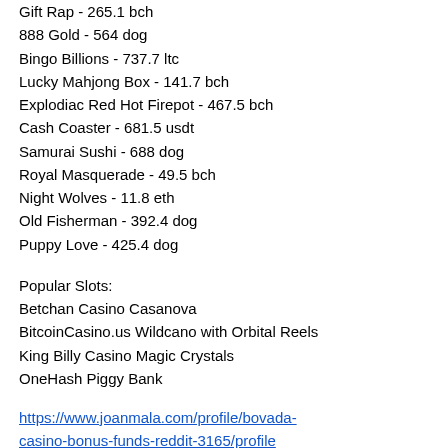Gift Rap - 265.1 bch
888 Gold - 564 dog
Bingo Billions - 737.7 ltc
Lucky Mahjong Box - 141.7 bch
Explodiac Red Hot Firepot - 467.5 bch
Cash Coaster - 681.5 usdt
Samurai Sushi - 688 dog
Royal Masquerade - 49.5 bch
Night Wolves - 11.8 eth
Old Fisherman - 392.4 dog
Puppy Love - 425.4 dog
Popular Slots:
Betchan Casino Casanova
BitcoinCasino.us Wildcano with Orbital Reels
King Billy Casino Magic Crystals
OneHash Piggy Bank
https://www.joanmala.com/profile/bovada-casino-bonus-funds-reddit-3165/profile